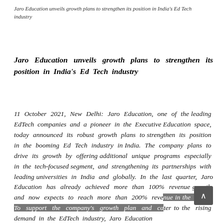Jaro Education unveils growth plans to strengthen its position in India's Ed Tech industry
Jaro Education unveils growth plans to strengthen its position in India's Ed Tech industry
11 October 2021, New Delhi: Jaro Education, one of the leading EdTech companies and a pioneer in the Executive Education space, today announced its robust growth plans to strengthen its position in the booming Ed Tech industry in India. The company plans to drive its growth by offering additional unique programs especially in the tech-focused segment, and strengthening its partnerships with leading universities in India and globally. In the last quarter, Jaro Education has already achieved more than 100% revenue growth and now expects to reach more than 200% revenue in the FY21. To support the company's growth plan and cater to the rising demand in the EdTech industry, Jaro Education